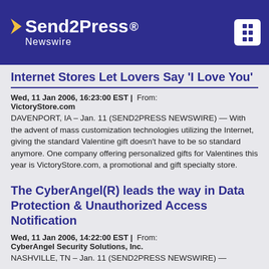Send2Press Newswire
Internet Stores Let Lovers Say 'I Love You'
Wed, 11 Jan 2006, 16:23:00 EST | From: VictoryStore.com
DAVENPORT, IA – Jan. 11 (SEND2PRESS NEWSWIRE) — With the advent of mass customization technologies utilizing the Internet, giving the standard Valentine gift doesn't have to be so standard anymore. One company offering personalized gifts for Valentines this year is VictoryStore.com, a promotional and gift specialty store.
The CyberAngel(R) leads the way in Data Protection & Unauthorized Access Notification
Wed, 11 Jan 2006, 14:22:00 EST | From: CyberAngel Security Solutions, Inc.
NASHVILLE, TN – Jan. 11 (SEND2PRESS NEWSWIRE) —